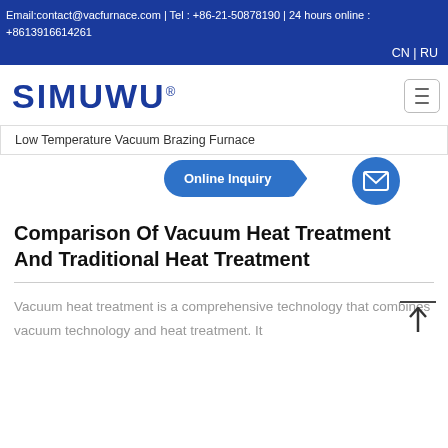Email:contact@vacfurnace.com | Tel : +86-21-50878190 | 24 hours online : +8613916614261
CN | RU
[Figure (logo): SIMUWU logo with registered trademark symbol]
Low Temperature Vacuum Brazing Furnace
Online Inquiry
Comparison Of Vacuum Heat Treatment And Traditional Heat Treatment
Vacuum heat treatment is a comprehensive technology that combines vacuum technology and heat treatment. It